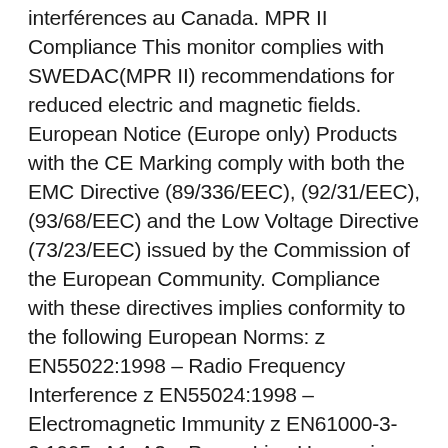interférences au Canada. MPR II Compliance This monitor complies with SWEDAC(MPR II) recommendations for reduced electric and magnetic fields. European Notice (Europe only) Products with the CE Marking comply with both the EMC Directive (89/336/EEC), (92/31/EEC), (93/68/EEC) and the Low Voltage Directive (73/23/EEC) issued by the Commission of the European Community. Compliance with these directives implies conformity to the following European Norms: z EN55022:1998 – Radio Frequency Interference z EN55024:1998 – Electromagnetic Immunity z EN61000-3-2:1995+A1+A2 – Power Line Harmonics z EN61000-3-3:1995 – Voltage Fluctuations z EN60950 – Product Safety. PCT Notice VCCI This is a Class B product based on the standard of the Voluntary Control Council for Interference by Information Technology Equipment (VCCI). If this is used near a radio or television receiver in a domestic